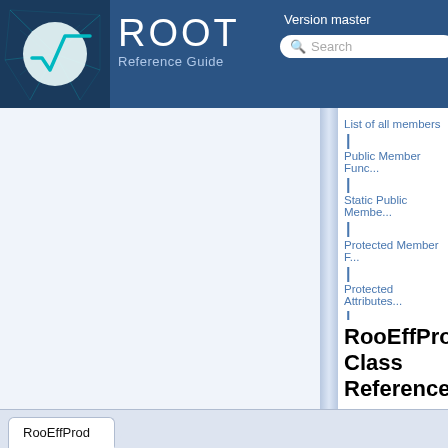ROOT Reference Guide | Version master
List of all members
Public Member Functions
Static Public Members
Protected Member Functions
Protected Attributes
List of all members
RooEffProd Class Reference
RooEffProd